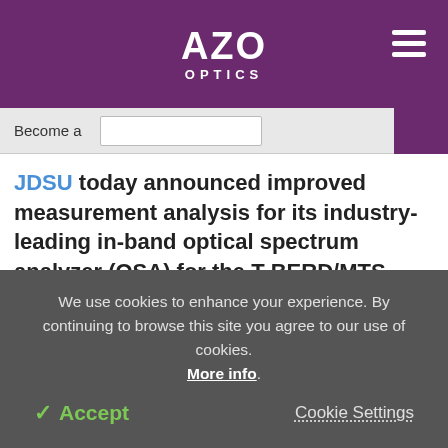AZO OPTICS
Become a
JDSU today announced improved measurement analysis for its industry-leading in-band optical spectrum analyzer (OSA) for the T-BERD/MTS-8000. The OSA-320 module, a high-performance optical spectrum analyzer, incorporates a unique and highly accurate method for measuring the "true" optical signal to noise ratio (OSNR) in
We use cookies to enhance your experience. By continuing to browse this site you agree to our use of cookies. More info.
Accept
Cookie Settings